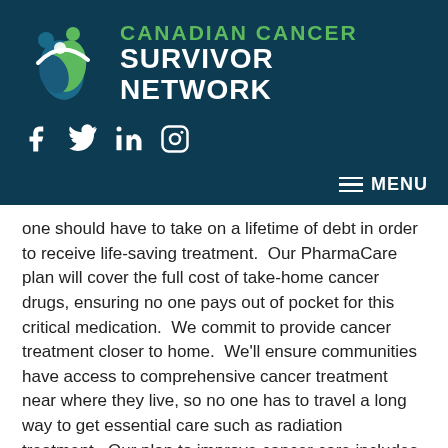[Figure (logo): Canadian Cancer Survivor Network logo with teal/green figure icon and text]
[Figure (infographic): Social media icons: Facebook, Twitter, LinkedIn, Instagram in white on dark teal background]
[Figure (infographic): Hamburger menu icon with MENU label in white on dark teal background]
one should have to take on a lifetime of debt in order to receive life-saving treatment.  Our PharmaCare plan will cover the full cost of take-home cancer drugs, ensuring no one pays out of pocket for this critical medication.  We commit to provide cancer treatment closer to home.  We'll ensure communities have access to comprehensive cancer treatment near where they live, so no one has to travel a long way to get essential care such as radiation treatment.  Our plan to improve cancer care includes a new Cancer Centre in Brampton and improved capacity for diagnostic imaging across the province.  We will